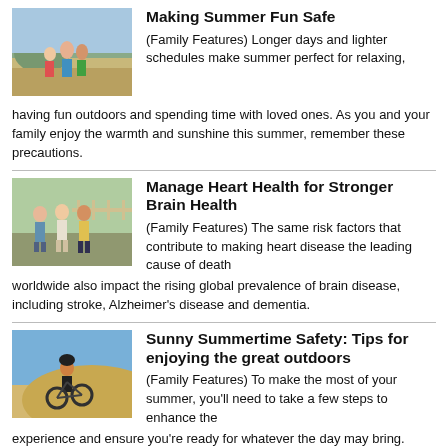[Figure (photo): Family at beach, children playing on rocks near water]
Making Summer Fun Safe
(Family Features) Longer days and lighter schedules make summer perfect for relaxing, having fun outdoors and spending time with loved ones. As you and your family enjoy the warmth and sunshine this summer, remember these precautions.
[Figure (photo): Group of people walking outdoors on a path, exercising together]
Manage Heart Health for Stronger Brain Health
(Family Features) The same risk factors that contribute to making heart disease the leading cause of death worldwide also impact the rising global prevalence of brain disease, including stroke, Alzheimer’s disease and dementia.
[Figure (photo): Person mountain biking on sandy terrain with blue sky]
Sunny Summertime Safety: Tips for enjoying the great outdoors
(Family Features) To make the most of your summer, you'll need to take a few steps to enhance the experience and ensure you’re ready for whatever the day may bring. When it's time to head outside, consider these tips to protect your body (and skin) from the elements this summer